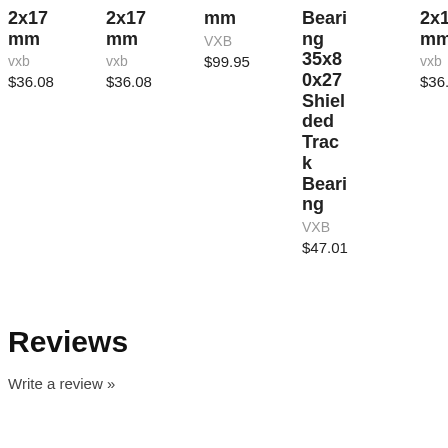2x17 mm
vxb
$36.08
2x17 mm
vxb
$36.08
mm
VXB
$99.95
Bearing 35x80x27 Shielded Track Bearing
VXB
$47.01
2x17 mm
vxb
$36.08
mm
VXB
$99.95
B
r
3
0
S
d
T
k
B
r
\
$
Reviews
Write a review »